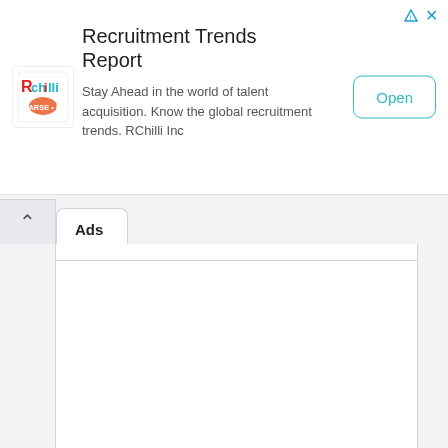[Figure (screenshot): Ad banner for RChilli Recruitment Trends Report with logo, text, and Open button]
Ads